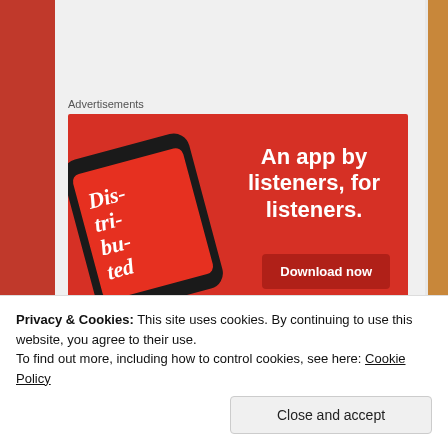Advertisements
[Figure (screenshot): Red advertisement banner for a podcast app showing a smartphone with 'Distributed' podcast and text 'An app by listeners, for listeners.' with a 'Download now' button]
The Pickleback
Adapted from recipe at Liquor.com
Privacy & Cookies: This site uses cookies. By continuing to use this website, you agree to their use.
To find out more, including how to control cookies, see here: Cookie Policy
Close and accept